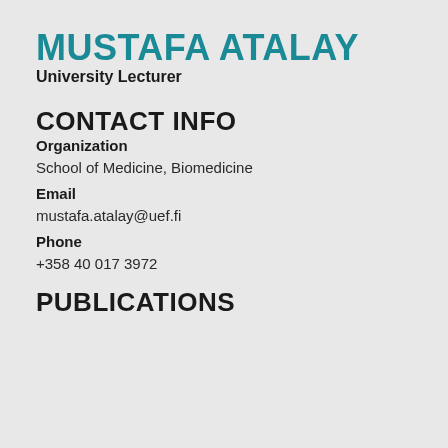MUSTAFA ATALAY
University Lecturer
CONTACT INFO
Organization
School of Medicine, Biomedicine
Email
mustafa.atalay@uef.fi
Phone
+358 40 017 3972
PUBLICATIONS